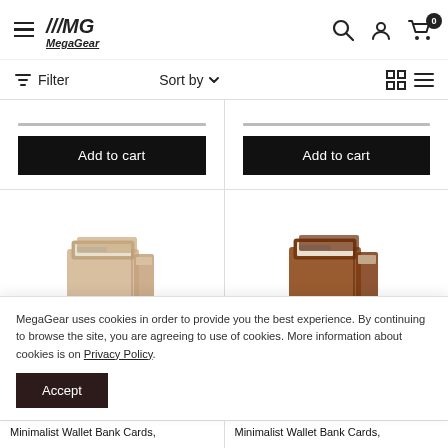MegaGear — navigation header with hamburger menu, logo, search, account, and cart icons
Filter  Sort by ▾  [grid view] [list view]
[Figure (screenshot): Two 'Add to cart' black buttons, one in each product column, with a thin price underline above each]
[Figure (photo): Left: beige/tan minimalist wallet with cards visible. Right: brown minimalist wallet with cards visible.]
MegaGear uses cookies in order to provide you the best experience. By continuing to browse the site, you are agreeing to use of cookies. More information about cookies is on Privacy Policy.
Accept
Minimalist Wallet Bank Cards,  Minimalist Wallet Bank Cards,